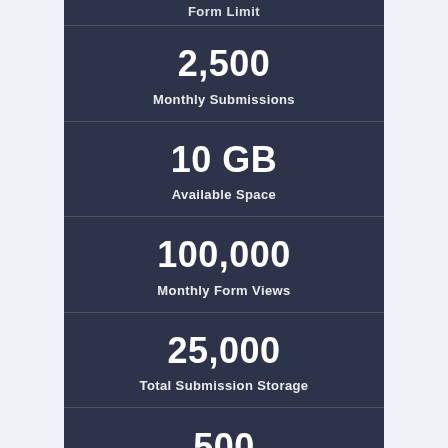Form Limit
2,500
Monthly Submissions
10 GB
Available Space
100,000
Monthly Form Views
25,000
Total Submission Storage
500